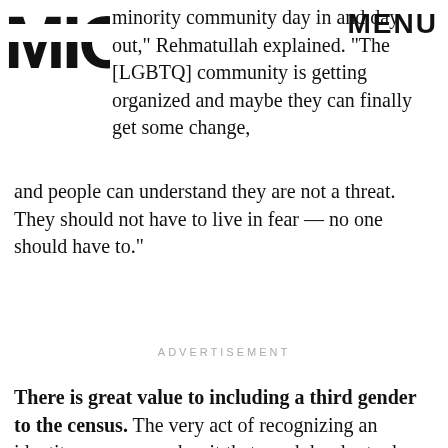MIO | MENU
minority community day in and day out," Rehmatullah explained. "The [LGBTQ] community is getting organized and maybe they can finally get some change, and people can understand they are not a threat. They should not have to live in fear — no one should have to."
ADVERTISEMENT
There is great value to including a third gender to the census. The very act of recognizing an identity or group makes it that much harder to deny…